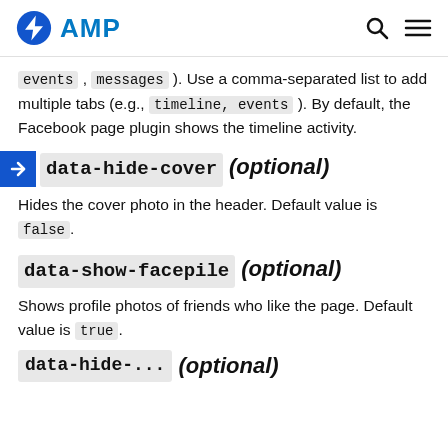AMP
events, messages). Use a comma-separated list to add multiple tabs (e.g., timeline, events). By default, the Facebook page plugin shows the timeline activity.
data-hide-cover (optional)
Hides the cover photo in the header. Default value is false.
data-show-facepile (optional)
Shows profile photos of friends who like the page. Default value is true.
data-hide-... (optional)